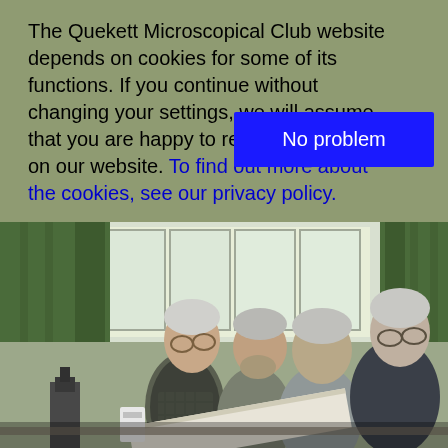The Quekett Microscopical Club website depends on cookies for some of its functions. If you continue without changing your settings, we will assume that you are happy to receive all cookies on our website. To find out more about the cookies, see our privacy policy.
[Figure (other): Blue button labeled 'No problem']
[Figure (photo): Four elderly men looking down at a document or image together in a room with green curtains and large windows. They appear to be members of a microscopical club examining something of interest.]